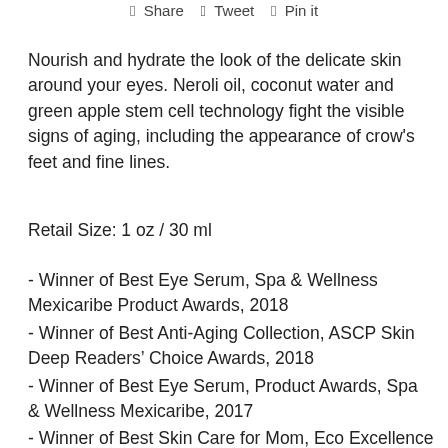Share  Tweet  Pin it
Nourish and hydrate the look of the delicate skin around your eyes. Neroli oil, coconut water and green apple stem cell technology fight the visible signs of aging, including the appearance of crow's feet and fine lines.
Retail Size: 1 oz / 30 ml
- Winner of Best Eye Serum, Spa & Wellness Mexicaribe Product Awards, 2018
- Winner of Best Anti-Aging Collection, ASCP Skin Deep Readers' Choice Awards, 2018
- Winner of Best Eye Serum, Product Awards, Spa & Wellness Mexicaribe, 2017
- Winner of Best Skin Care for Mom, Eco Excellence Awards, Natural Child World, 2015
- Winner of Premium Organic Skin Care Product, Sister's Beauty Pro Awards, Hong Kong, 2013